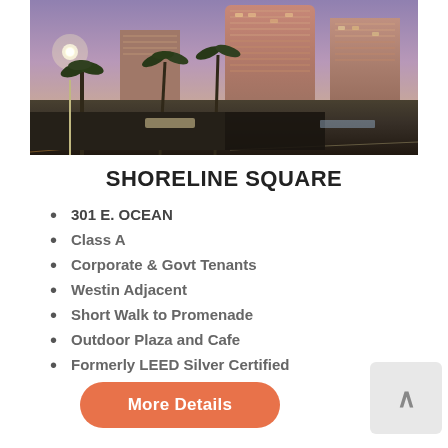[Figure (photo): Exterior photograph of Shoreline Square office building at dusk/twilight. Tall brick-red cylindrical and rectangular high-rise towers with palm trees in foreground and purple-pink sky in background.]
SHORELINE SQUARE
301 E. OCEAN
Class A
Corporate & Govt Tenants
Westin Adjacent
Short Walk to Promenade
Outdoor Plaza and Cafe
Formerly LEED Silver Certified